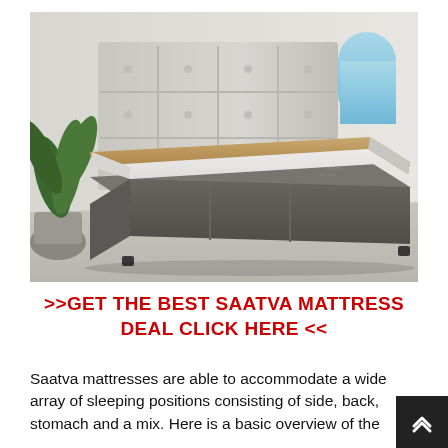[Figure (photo): A luxury bed with a tall tufted upholstered headboard in light grey, a white pillow-top mattress with brown/tan trim edge, and a dark grey upholstered bed frame. A large green plant is visible on the left and a rounded arched window with a blue sky view is on the upper right. The room walls are white.]
>>GET THE BEST SAATVA MATTRESS DEAL CLICK HERE <<
Saatva mattresses are able to accommodate a wide array of sleeping positions consisting of side, back, stomach and a mix. Here is a basic overview of the